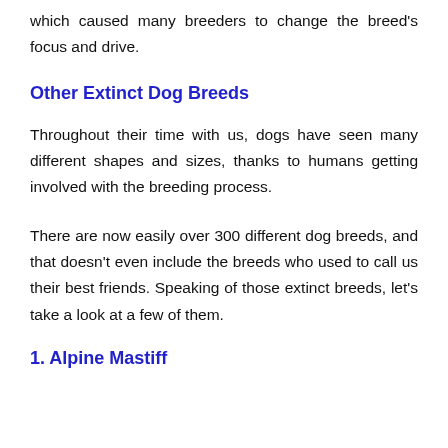which caused many breeders to change the breed's focus and drive.
Other Extinct Dog Breeds
Throughout their time with us, dogs have seen many different shapes and sizes, thanks to humans getting involved with the breeding process.
There are now easily over 300 different dog breeds, and that doesn't even include the breeds who used to call us their best friends. Speaking of those extinct breeds, let's take a look at a few of them.
1. Alpine Mastiff